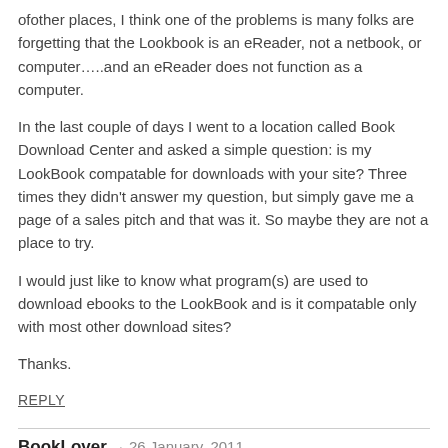ofother places, I think one of the problems is many folks are forgetting that the Lookbook is an eReader, not a netbook, or computer…..and an eReader does not function as a computer.
In the last couple of days I went to a location called Book Download Center and asked a simple question: is my LookBook compatable for downloads with your site? Three times they didn't answer my question, but simply gave me a page of a sales pitch and that was it. So maybe they are not a place to try.
I would just like to know what program(s) are used to download ebooks to the LookBook and is it compatable only with most other download sites?
Thanks.
REPLY
BookLover · 26 January, 2011